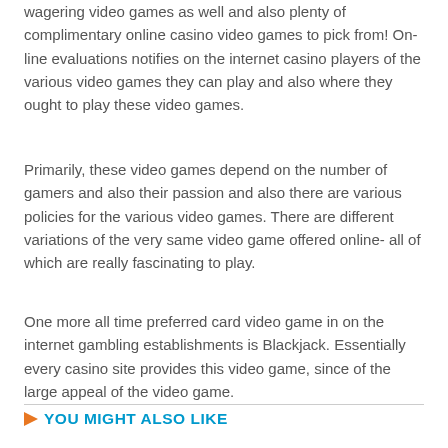wagering video games as well and also plenty of complimentary online casino video games to pick from! On-line evaluations notifies on the internet casino players of the various video games they can play and also where they ought to play these video games.
Primarily, these video games depend on the number of gamers and also their passion and also there are various policies for the various video games. There are different variations of the very same video game offered online- all of which are really fascinating to play.
One more all time preferred card video game in on the internet gambling establishments is Blackjack. Essentially every casino site provides this video game, since of the large appeal of the video game.
YOU MIGHT ALSO LIKE